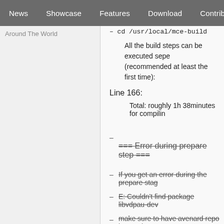News | Showcase | Features | Download | Contribute | Support
Around The World
cd /usr/local/mce-build
All the build steps can be executed separately (recommended at least the first time):
Line 166:
Total: roughly 1h 38minutes for compiling
– === Error during prepare step ===
– If you get an error during the prepare stage
– E: Couldn't find package libvdpau-dev
– make sure to have avenard repo in your sources.list
–
– deb http://www.avenard.org/files/ubuntu-n release testing
–
–